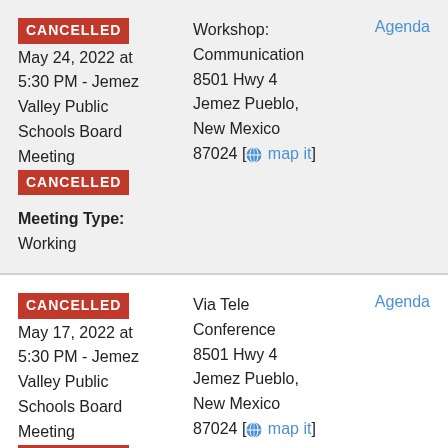CANCELLED — May 24, 2022 at 5:30 PM - Jemez Valley Public Schools Board Meeting — CANCELLED
Workshop: Communication — 8501 Hwy 4 Jemez Pueblo, New Mexico 87024 [map it] — Agenda
Meeting Type: Working
CANCELLED — May 17, 2022 at 5:30 PM - Jemez Valley Public Schools Board Meeting — CANCELLED
Via Tele Conference — 8501 Hwy 4 Jemez Pueblo, New Mexico 87024 [map it] — Agenda